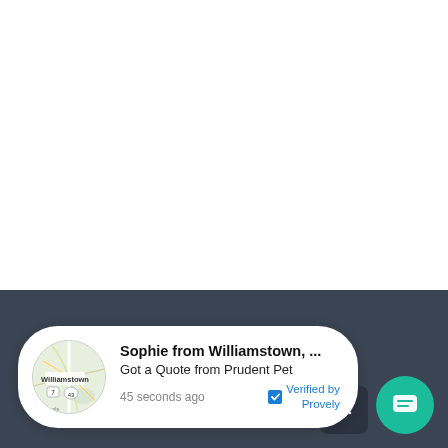[Figure (screenshot): White blank section occupying the top portion of the page]
[Figure (screenshot): Dark navy background section with a notification popup card. The card shows a map thumbnail of Williamstown, notification text 'Sophie from Williamstown, ...' and 'Got a Quote from Prudent Pet', timestamp '45 seconds ago', and 'Verified by Provely' badge. A teal chat bubble button and dark arrow button are also present.]
Sophie from Williamstown, ...
Got a Quote from Prudent Pet
45 seconds ago
Verified by Provely